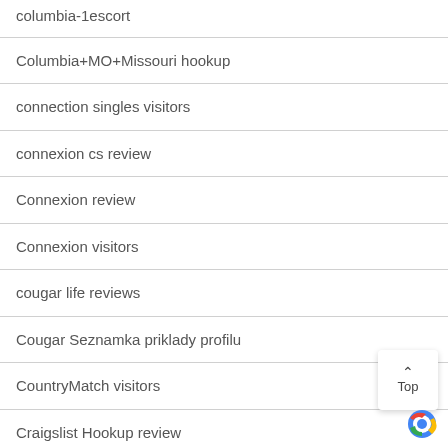columbia-1escort
Columbia+MO+Missouri hookup
connection singles visitors
connexion cs review
Connexion review
Connexion visitors
cougar life reviews
Cougar Seznamka priklady profilu
CountryMatch visitors
Craigslist Hookup review